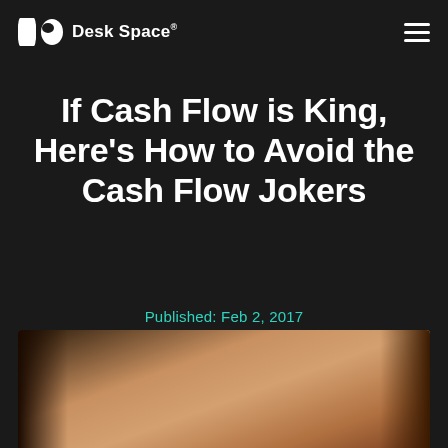DeskSpace®
If Cash Flow is King, Here's How to Avoid the Cash Flow Jokers
Published: Feb 2, 2017
[Figure (photo): Bottom portion of page showing a partially visible photograph of a person, warm toned background]